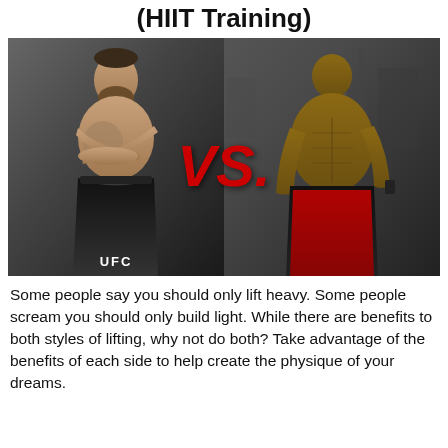(HIIT Training)
[Figure (photo): Side-by-side composite photo of two athletes: left side shows a bearded MMA fighter (UFC) with tattoos and arms crossed, right side shows a muscular bodybuilder in a gym with red shorts. A large red italic 'VS.' text overlays the center.]
Some people say you should only lift heavy. Some people scream you should only build light. While there are benefits to both styles of lifting, why not do both? Take advantage of the benefits of each side to help create the physique of your dreams.